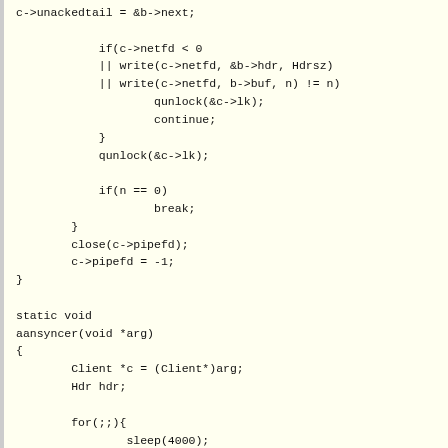c->unackedtail = &b->next;

            if(c->netfd < 0
            || write(c->netfd, &b->hdr, Hdrsz)
            || write(c->netfd, b->buf, n) != n)
                    qunlock(&c->lk);
                    continue;
            }
            qunlock(&c->lk);

            if(n == 0)
                    break;
        }
        close(c->pipefd);
        c->pipefd = -1;
}

static void
aansyncer(void *arg)
{
        Client *c = (Client*)arg;
        Hdr hdr;

        for(;;){
                sleep(4000);
                qlock(&c->lk);
                if(c->netfd >= 0){
                        PBIT32(hdr.nb, 0);
                        PBIT32(hdr.acked, c->inmsg)
                        PBIT32(hdr.msg, -1);